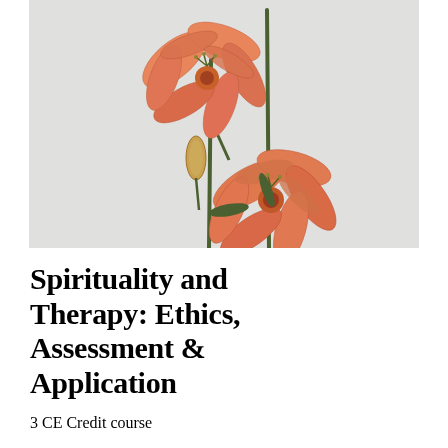[Figure (photo): Orange day lily flowers with green stems against a light gray background. Two open blooms visible, one bud, photographed in a minimalist style.]
Spirituality and Therapy: Ethics, Assessment & Application
3 CE Credit course